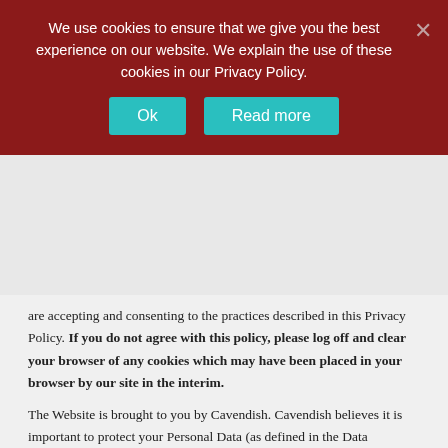We use cookies to ensure that we give you the best experience on our website. We explain the use of these cookies in our Privacy Policy.
Ok | Read more
are accepting and consenting to the practices described in this Privacy Policy. If you do not agree with this policy, please log off and clear your browser of any cookies which may have been placed in your browser by our site in the interim.
The Website is brought to you by Cavendish. Cavendish believes it is important to protect your Personal Data (as defined in the Data Protection Act 1998 and the GDPR) and we are committed to giving you a personalised service that meets your needs in a way that also protects your privacy. This policy explains how we may collect Personal Data about you. It also explains some of the security measures we take to protect your Personal Data, and tells you certain things we will do and will not do.